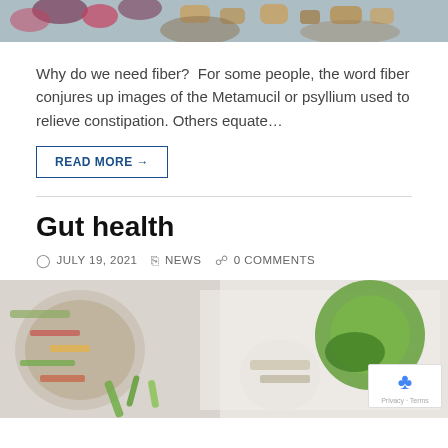[Figure (photo): Top portion of a food photo showing berries, nuts, and seeds on a wooden board, cropped at top]
Why do we need fiber?  For some people, the word fiber conjures up images of the Metamucil or psyllium used to relieve constipation. Others equate…
READ MORE →
Gut health
JULY 19, 2021   NEWS   0 COMMENTS
[Figure (photo): Overhead photo of colorful healthy food bowls with salads, avocado, cilantro and grains on a white surface]